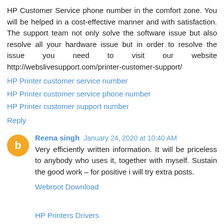HP Customer Service phone number in the comfort zone. You will be helped in a cost-effective manner and with satisfaction. The support team not only solve the software issue but also resolve all your hardware issue but in order to resolve the issue you need to visit our website http://webslivesupport.com/printer-customer-support/
HP Printer customer service number
HP Printer customer service phone number
HP Printer customer support number
Reply
Reena singh  January 24, 2020 at 10:40 AM
Very efficiently written information. It will be priceless to anybody who uses it, together with myself. Sustain the good work – for positive i will try extra posts.
Webroot Download
HP Printers Drivers
Norton.com/nu16